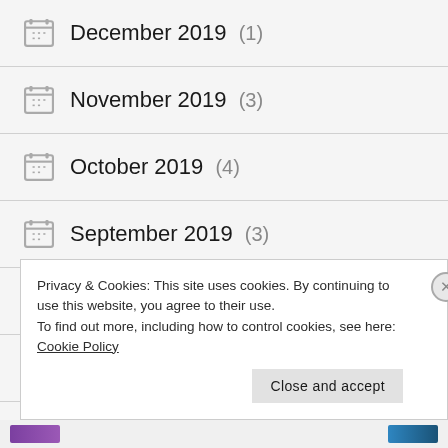December 2019 (1)
November 2019 (3)
October 2019 (4)
September 2019 (3)
August 2019 (3)
July 2019 (3)
June 2019 (10)
Privacy & Cookies: This site uses cookies. By continuing to use this website, you agree to their use.
To find out more, including how to control cookies, see here: Cookie Policy
Close and accept